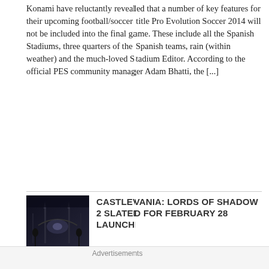Konami have reluctantly revealed that a number of key features for their upcoming football/soccer title Pro Evolution Soccer 2014 will not be included into the final game. These include all the Spanish Stadiums, three quarters of the Spanish teams, rain (within weather) and the much-loved Stadium Editor. According to the official PES community manager Adam Bhatti, the [...]
[Figure (photo): Dark moody game screenshot showing a gothic/castle environment with dramatic lighting]
CASTLEVANIA: LORDS OF SHADOW 2 SLATED FOR FEBRUARY 28 LAUNCH
August 21, 2013 · by gameslatestnews · in Latest Games News · Leave a comment
Konami have officially announced the release date for Castlevania: Lords of Shadow 2 to be February 27th across Europe, February
Privacy & Cookies: This site uses cookies. By continuing to use this website, you agree to their use.
To find out more, including how to control cookies, see here: Cookie Policy
Close and accept
Advertisements